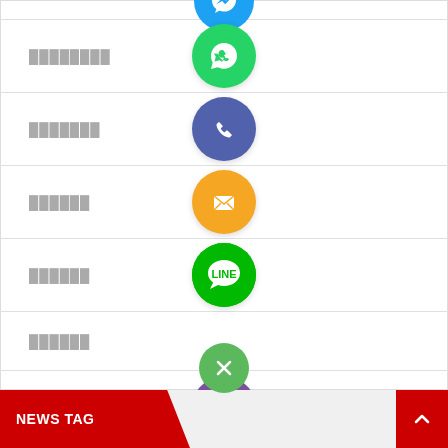[Figure (infographic): Social media contact list with circular icons: WhatsApp (green), Phone (blue/purple), Email (orange), LINE (green), Viber (purple), and a close (X) button. Each row has Thai script label text on the left and an icon centered on the right side.]
NEWS TAG
[Figure (other): Scroll to top button (red with up arrow chevron)]